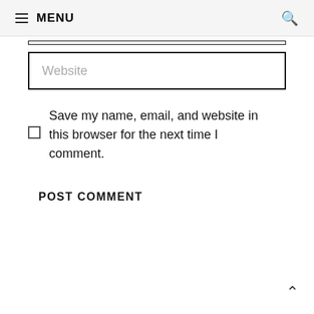≡ MENU 🔍
Website
Save my name, email, and website in this browser for the next time I comment.
POST COMMENT